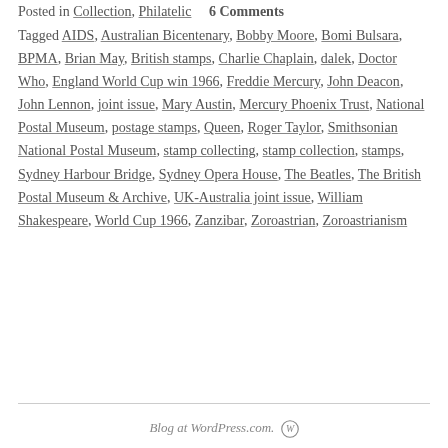Posted in Collection, Philatelic    6 Comments
Tagged AIDS, Australian Bicentenary, Bobby Moore, Bomi Bulsara, BPMA, Brian May, British stamps, Charlie Chaplain, dalek, Doctor Who, England World Cup win 1966, Freddie Mercury, John Deacon, John Lennon, joint issue, Mary Austin, Mercury Phoenix Trust, National Postal Museum, postage stamps, Queen, Roger Taylor, Smithsonian National Postal Museum, stamp collecting, stamp collection, stamps, Sydney Harbour Bridge, Sydney Opera House, The Beatles, The British Postal Museum & Archive, UK-Australia joint issue, William Shakespeare, World Cup 1966, Zanzibar, Zoroastrian, Zoroastrianism
Blog at WordPress.com.